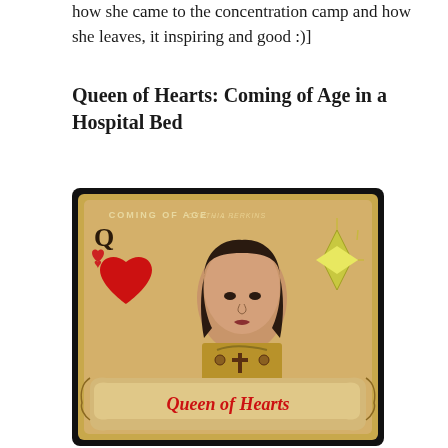how she came to the concentration camp and how she leaves, it inspiring and good :)]
Queen of Hearts: Coming of Age in a Hospital Bed
[Figure (illustration): Book cover illustration styled as a playing card — Queen of Hearts. A woman's portrait in the center with a large red heart and 'Q' on the left. The card has ornate golden decorative artwork and a banner at the bottom reading 'Queen of Hearts' in red cursive script. At the top in small text: 'COMING OF AGE...']